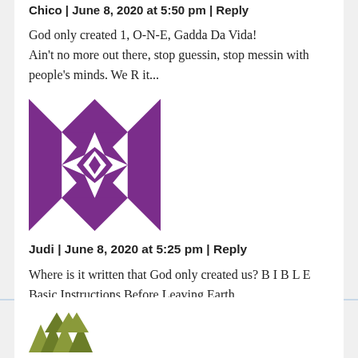Chico | June 8, 2020 at 5:50 pm | Reply
God only created 1, O-N-E, Gadda Da Vida!
Ain’t no more out there, stop guessin, stop messin with people’s minds. We R it...
[Figure (illustration): Purple and white geometric quilt-pattern avatar icon]
Judi | June 8, 2020 at 5:25 pm | Reply
Where is it written that God only created us? B I B L E Basic Instructions Before Leaving Earth
[Figure (illustration): Olive/green geometric logo or avatar at bottom, partially visible]